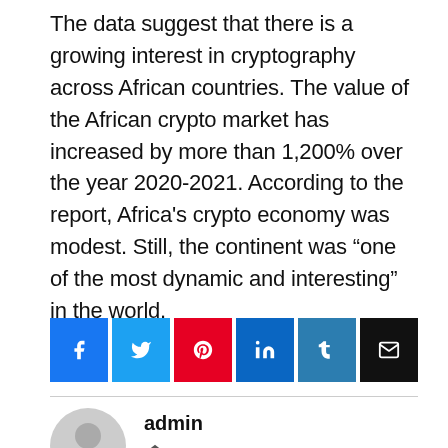The data suggest that there is a growing interest in cryptography across African countries. The value of the African crypto market has increased by more than 1,200% over the year 2020-2021. According to the report, Africa's crypto economy was modest. Still, the continent was “one of the most dynamic and interesting” in the world.
[Figure (infographic): Social sharing buttons: Facebook (blue), Twitter (light blue), Pinterest (red), LinkedIn (dark blue), Tumblr (slate blue), Email (black)]
[Figure (illustration): Default user avatar: grey circle with grey silhouette of a person's head and shoulders]
admin
[Figure (other): Home/house icon link]